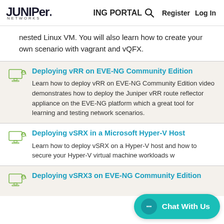JUNIPER NETWORKS | ING PORTAL | Register | Log In
nested Linux VM. You will also learn how to create your own scenario with vagrant and vQFX.
Deploying vRR on EVE-NG Community Edition
Learn how to deploy vRR on EVE-NG Community Edition video demonstrates how to deploy the Juniper vRR route reflector appliance on the EVE-NG platform which a great tool for learning and testing network scenarios.
Deploying vSRX in a Microsoft Hyper-V Host
Learn how to deploy vSRX on a Hyper-V host and how to secure your Hyper-V virtual machine workloads w...
Deploying vSRX3 on EVE-NG Community Edition